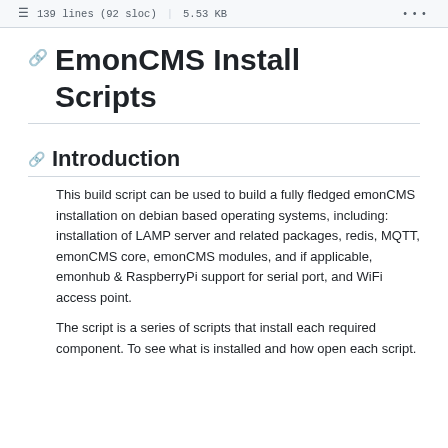139 lines (92 sloc) | 5.53 KB
EmonCMS Install Scripts
Introduction
This build script can be used to build a fully fledged emonCMS installation on debian based operating systems, including: installation of LAMP server and related packages, redis, MQTT, emonCMS core, emonCMS modules, and if applicable, emonhub & RaspberryPi support for serial port, and WiFi access point.
The script is a series of scripts that install each required component. To see what is installed and how open each script.